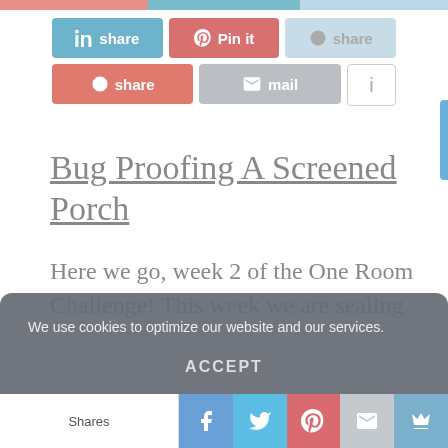[Figure (screenshot): Social share buttons: LinkedIn share, Pinterest Pin it, Weibo share (row 1); StumbleUpon share, mail, info (row 2)]
Bug Proofing A Screened Porch
Here we go, week 2 of the One Room Challenge! This week we are sealing and Bug Proofing A Screened Porch
We use cookies to optimize our website and our services.

ACCEPT
[Figure (screenshot): Bottom social sharing bar with Shares label, Facebook, Twitter, Pinterest, mail, and crown icons]